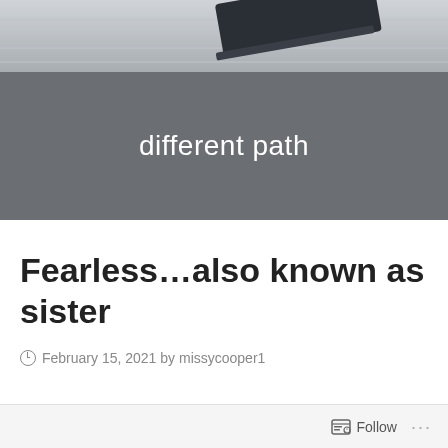[Figure (photo): Header photo showing a notebook with lines and a dark eraser/pencil on top, slightly blurred, with gray tones]
different path
Fearless…also known as sister
February 15, 2021 by missycooper1